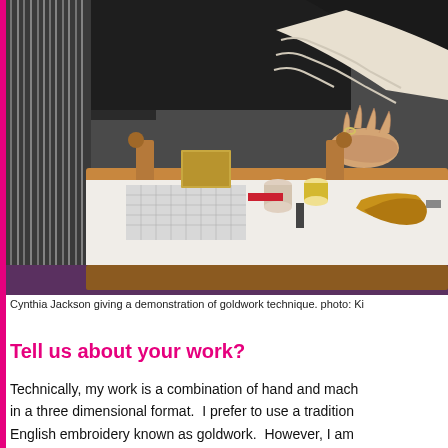[Figure (photo): A person in a white knit sweater demonstrating goldwork embroidery technique at a wooden frame/loom. The frame holds fabric and various goldwork tools, threads, and scissors are visible on the table. Another person's legs are visible in the background.]
Cynthia Jackson giving a demonstration of goldwork technique. photo: Ki
Tell us about your work?
Technically, my work is a combination of hand and mach in a three dimensional format.  I prefer to use a tradition English embroidery known as goldwork.  However, I am and combining a variety of old hand techniques and t